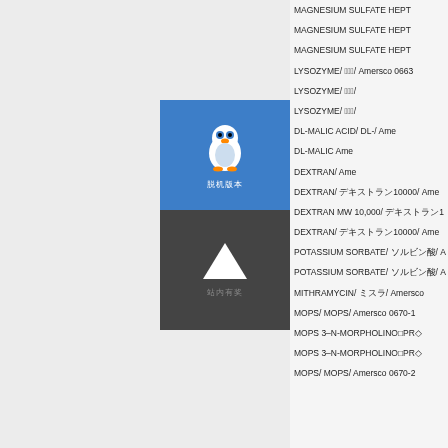MAGNESIUM SULFATE HEPT
MAGNESIUM SULFATE HEPT
MAGNESIUM SULFATE HEPT
LYSOZYME/ 卵白/ Amersco 0663
LYSOZYME/ 卵白/
LYSOZYME/ 卵白/
DL-MALIC ACID/ DL-リンゴ酸/ Ame
DL-MALIC Ame
DEXTRAN/ Ame
DEXTRAN/ デキストラン10000/ Ame
DEXTRAN MW 10,000/ デキストラン1
DEXTRAN/ デキストラン10000/ Ame
POTASSIUM SORBATE/ ソルビン酸カリ/ A
POTASSIUM SORBATE/ ソルビン酸カリ/ A
MITHRAMYCIN/ ミスラマ/ Amersco
MOPS/ MOPS/ Amersco 0670-1
MOPS 3-N-MORPHOLINOPRO
MOPS 3-N-MORPHOLINOPRO
MOPS/ MOPS/ Amersco 0670-2